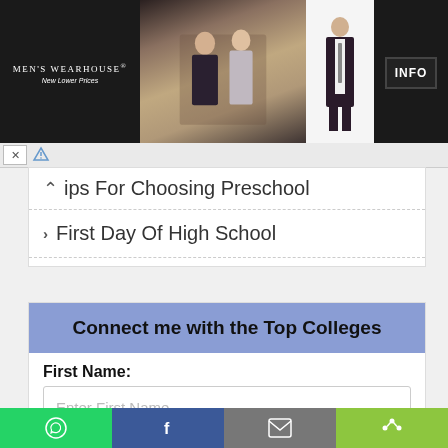[Figure (screenshot): Men's Wearhouse advertisement banner with couple in formal wear and tuxedo figure, with INFO button]
Tips For Choosing Preschool
First Day Of High School
Connect me with the Top Colleges
First Name:
Enter First Name
Last Name:
Enter Last Name
[Figure (screenshot): Social share bar with WhatsApp, Facebook, email, and more buttons]